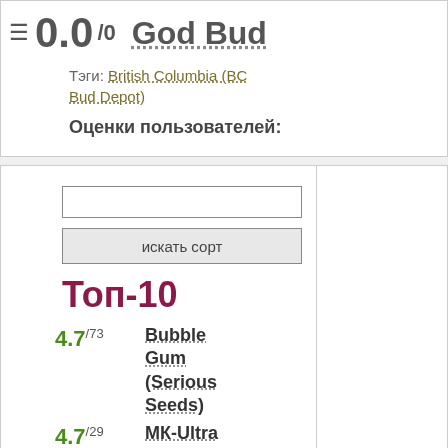0.0/0 God Bud
Тэги: British Columbia (BC Bud Depot)
Оценки пользователей:
искать сорт
Топ-10
4.7/73 Bubble Gum (Serious Seeds)
4.7/29 МК-Ultra
4.6/62 Nothern Light (Nirvana)